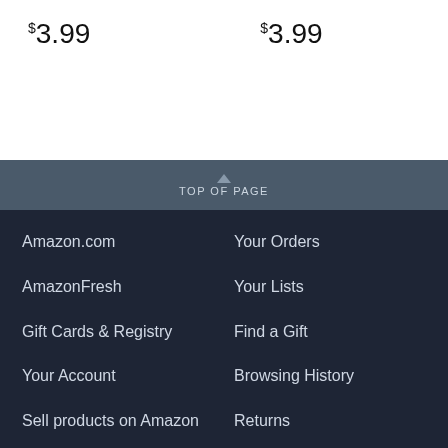$3.99    $3.99
TOP OF PAGE
Amazon.com
Your Orders
AmazonFresh
Your Lists
Gift Cards & Registry
Find a Gift
Your Account
Browsing History
Sell products on Amazon
Returns
Your Recalls and Product Safety Alerts
Customer Service